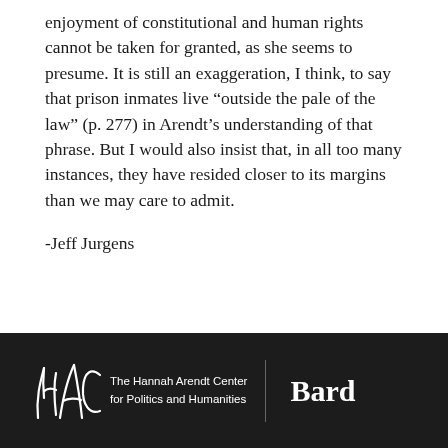enjoyment of constitutional and human rights cannot be taken for granted, as she seems to presume. It is still an exaggeration, I think, to say that prison inmates live “outside the pale of the law” (p. 277) in Arendt’s understanding of that phrase. But I would also insist that, in all too many instances, they have resided closer to its margins than we may care to admit.
-Jeff Jurgens
[Figure (logo): HAC logo with script letters H, A, C and text 'The Hannah Arendt Center for Politics and Humanities' with 'Bard' text, white on dark background]